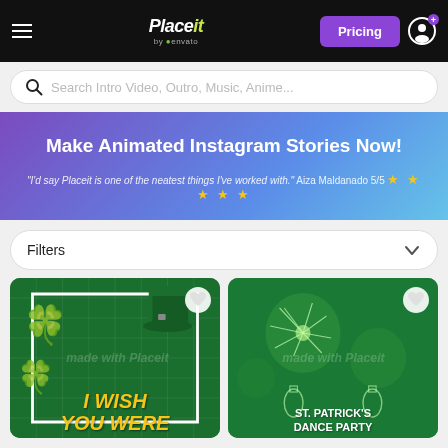Placeit by envato — Pricing
Search Intro Video, Outro, Music, Anime...
Make Animated Instagram Stories Now!
"I'd say Placeit is one of the neatest things I've worked with." Aiza Maldanado 5/5 ★★★★★
Filters
[Figure (screenshot): St. Patrick's Day Instagram Story template with green background, shamrocks, leprechaun hat, grid pattern, and yellow italic text reading I WISH YOU WERE]
[Figure (screenshot): St. Patrick's Dance Party Instagram Story template with green bokeh background, fireworks, neon bottle outlines, and text reading ST. PATRICK'S DANCE PARTY]